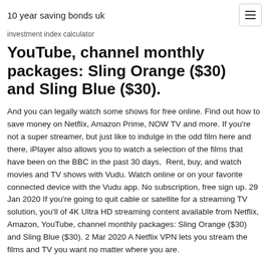10 year saving bonds uk
investment index calculator
YouTube, channel monthly packages: Sling Orange ($30) and Sling Blue ($30).
And you can legally watch some shows for free online. Find out how to save money on Netflix, Amazon Prime, NOW TV and more. If you're not a super streamer, but just like to indulge in the odd film here and there, iPlayer also allows you to watch a selection of the films that have been on the BBC in the past 30 days,  Rent, buy, and watch movies and TV shows with Vudu. Watch online or on your favorite connected device with the Vudu app. No subscription, free sign up. 29 Jan 2020 If you're going to quit cable or satellite for a streaming TV solution, you'll of 4K Ultra HD streaming content available from Netflix, Amazon, YouTube, channel monthly packages: Sling Orange ($30) and Sling Blue ($30). 2 Mar 2020 A Netflix VPN lets you stream the films and TV you want no matter where you are.